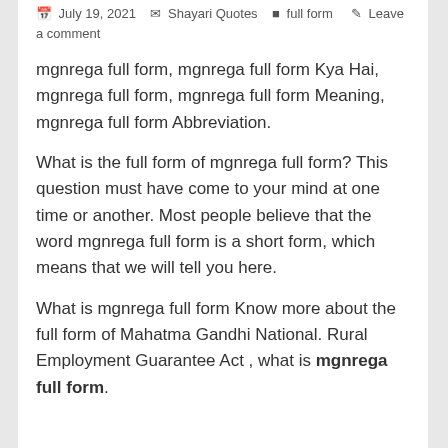July 19, 2021   Shayari Quotes   full form   Leave a comment
mgnrega full form, mgnrega full form Kya Hai, mgnrega full form, mgnrega full form Meaning, mgnrega full form Abbreviation.
What is the full form of mgnrega full form? This question must have come to your mind at one time or another. Most people believe that the word mgnrega full form is a short form, which means that we will tell you here.
What is mgnrega full form Know more about the full form of Mahatma Gandhi National. Rural Employment Guarantee Act , what is mgnrega full form.